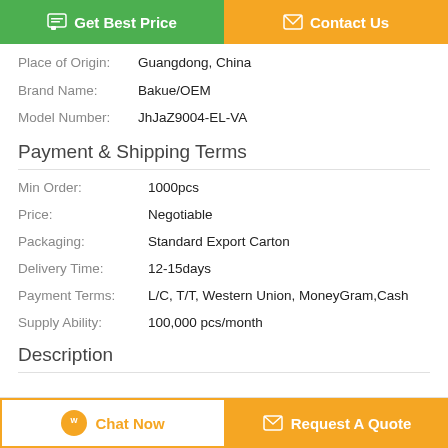[Figure (other): Two buttons: green 'Get Best Price' and orange 'Contact Us']
Place of Origin: Guangdong, China
Brand Name: Bakue/OEM
Model Number: JhJaZ9004-EL-VA
Payment & Shipping Terms
Min Order: 1000pcs
Price: Negotiable
Packaging: Standard Export Carton
Delivery Time: 12-15days
Payment Terms: L/C, T/T, Western Union, MoneyGram,Cash
Supply Ability: 100,000 pcs/month
Description
[Figure (other): Bottom bar with 'Chat Now' and 'Request A Quote' buttons]